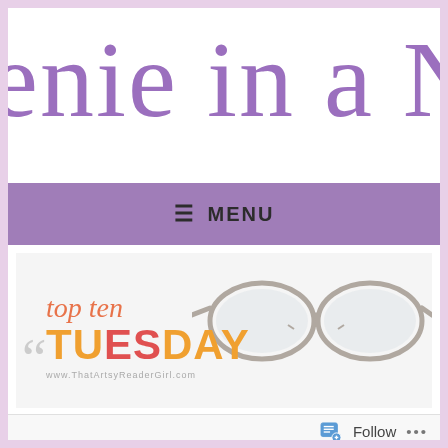enie in a N
[Figure (screenshot): Purple navigation menu bar with hamburger icon and MENU text]
[Figure (illustration): Top Ten Tuesday banner with reading glasses, orange and red text, www.ThatArtsyReaderGirl.com]
Follow ...